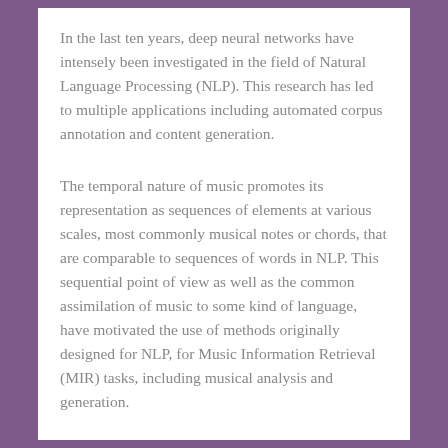In the last ten years, deep neural networks have intensely been investigated in the field of Natural Language Processing (NLP). This research has led to multiple applications including automated corpus annotation and content generation.
The temporal nature of music promotes its representation as sequences of elements at various scales, most commonly musical notes or chords, that are comparable to sequences of words in NLP. This sequential point of view as well as the common assimilation of music to some kind of language, have motivated the use of methods originally designed for NLP, for Music Information Retrieval (MIR) tasks, including musical analysis and generation.